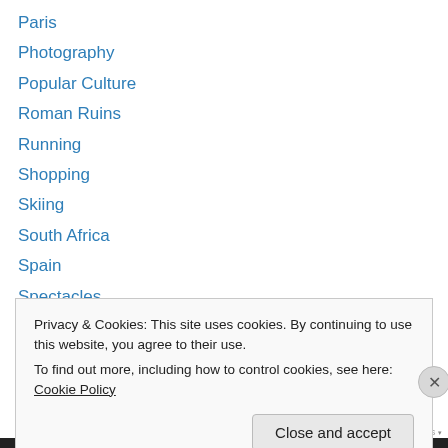Paris
Photography
Popular Culture
Roman Ruins
Running
Shopping
Skiing
South Africa
Spain
Spectacles
Sports
St. Bernards
Sweden
Privacy & Cookies: This site uses cookies. By continuing to use this website, you agree to their use. To find out more, including how to control cookies, see here: Cookie Policy
Close and accept